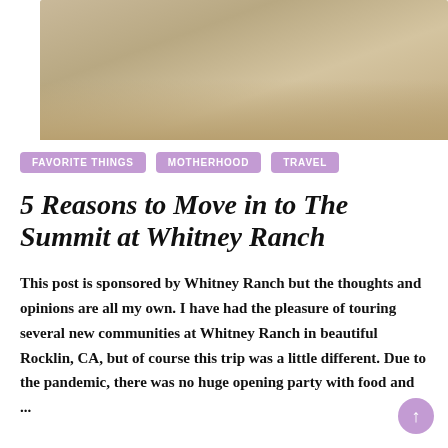[Figure (photo): Top portion of a photo showing wooden stairs or flooring in warm beige/tan tones]
FAVORITE THINGS   MOTHERHOOD   TRAVEL
5 Reasons to Move in to The Summit at Whitney Ranch
This post is sponsored by Whitney Ranch but the thoughts and opinions are all my own. I have had the pleasure of touring several new communities at Whitney Ranch in beautiful Rocklin, CA, but of course this trip was a little different. Due to the pandemic, there was no huge opening party with food and ...